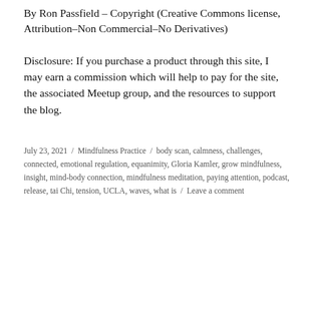By Ron Passfield – Copyright (Creative Commons license, Attribution–Non Commercial–No Derivatives)
Disclosure: If you purchase a product through this site, I may earn a commission which will help to pay for the site, the associated Meetup group, and the resources to support the blog.
July 23, 2021 / Mindfulness Practice / body scan, calmness, challenges, connected, emotional regulation, equanimity, Gloria Kamler, grow mindfulness, insight, mind-body connection, mindfulness meditation, paying attention, podcast, release, tai Chi, tension, UCLA, waves, what is / Leave a comment